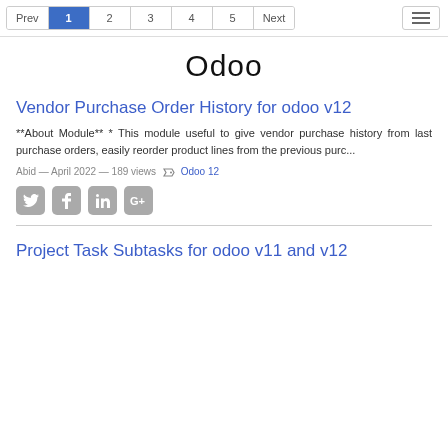Prev 1 2 3 4 5 Next
Odoo
Vendor Purchase Order History for odoo v12
**About Module** * This module useful to give vendor purchase history from last purchase orders, easily reorder product lines from the previous purc...
Abid — April 2022 — 189 views  Odoo 12
[Figure (other): Social share icons: Twitter, Facebook, LinkedIn, Google+]
Project Task Subtasks for odoo v11 and v12